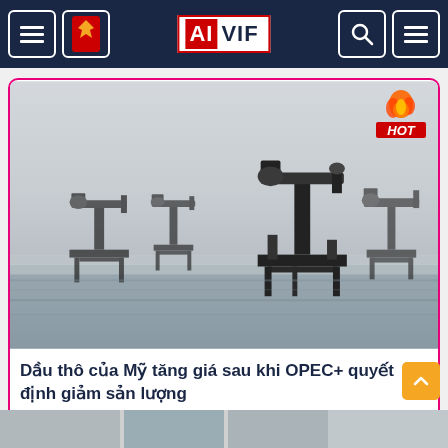AIVIF navigation bar
[Figure (photo): Offshore oil pump jacks on water platforms in misty conditions, with multiple pumpjack silhouettes visible. A 'HOT' badge appears in the top-right corner of the image.]
Dầu thô của Mỹ tăng giá sau khi OPEC+ quyết định giảm sản lượng
[Figure (photo): Partial bottom strip showing thumbnails of another article.]